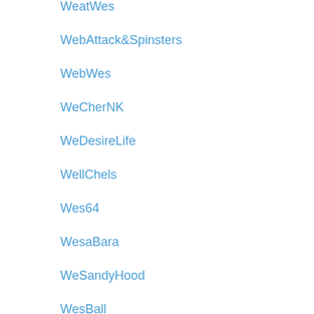WeatWes
WebAttack&Spinsters
WebWes
WeCherNK
WeDesireLife
WellChels
Wes64
WesaBara
WeSandyHood
WesBall
WesBarro
Wesbolic
WesBraFlag
WesBraz
WesCat
WesCil
WesColum
WesCover
WesEleUs
WesFawkes